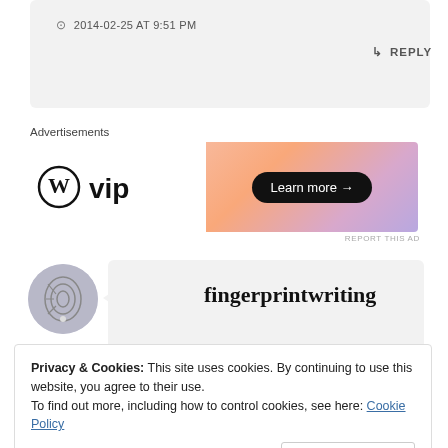2014-02-25 AT 9:51 PM
↳ REPLY
Advertisements
[Figure (other): WordPress VIP advertisement banner with gradient background and 'Learn more →' button]
REPORT THIS AD
fingerprintwriting
Privacy & Cookies: This site uses cookies. By continuing to use this website, you agree to their use.
To find out more, including how to control cookies, see here: Cookie Policy
Close and accept